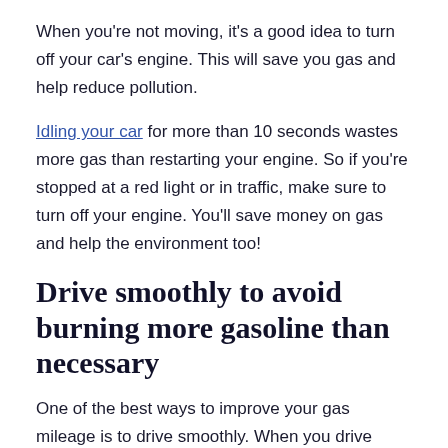When you're not moving, it's a good idea to turn off your car's engine. This will save you gas and help reduce pollution.
Idling your car for more than 10 seconds wastes more gas than restarting your engine. So if you're stopped at a red light or in traffic, make sure to turn off your engine. You'll save money on gas and help the environment too!
Drive smoothly to avoid burning more gasoline than necessary
One of the best ways to improve your gas mileage is to drive smoothly. When you drive smoothly, you're using less gas than when you drive recklessly.